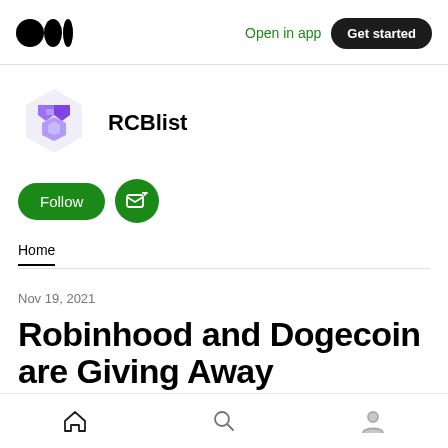Medium logo | Open in app | Get started
[Figure (logo): RCBlist hexagonal purple/blue logo icon]
RCBlist
[Figure (other): Follow button (green pill) and Subscribe email button (green circle with envelope icon)]
Home
Nov 19, 2021
Robinhood and Dogecoin are Giving Away Dogecoin.
Home | Search | Profile navigation icons